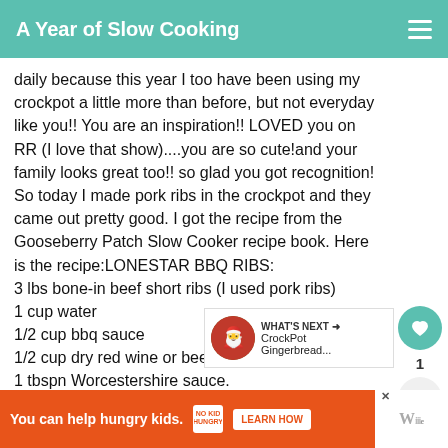A Year of Slow Cooking
daily because this year I too have been using my crockpot a little more than before, but not everyday like you!! You are an inspiration!! LOVED you on RR (I love that show)....you are so cute!and your family looks great too!! so glad you got recognition! So today I made pork ribs in the crockpot and they came out pretty good. I got the recipe from the Gooseberry Patch Slow Cooker recipe book. Here is the recipe:LONESTAR BBQ RIBS:
3 lbs bone-in beef short ribs (I used pork ribs)
1 cup water
1/2 cup bbq sauce
1/2 cup dry red wine or beef broth
1 tbspn Worcestershire sauce.
Arrange ribs in slow cooker. Mix remaining ingredients together and pour over and cook on low for 8-10 hours. Serves people.
[Figure (other): Heart/like button showing count of 1, and share button on the right side]
[Figure (other): What's Next promo showing CrockPot Gingerbread... with thumbnail]
[Figure (other): Orange advertisement banner: You can help hungry kids. NO KID HUNGRY. LEARN HOW]